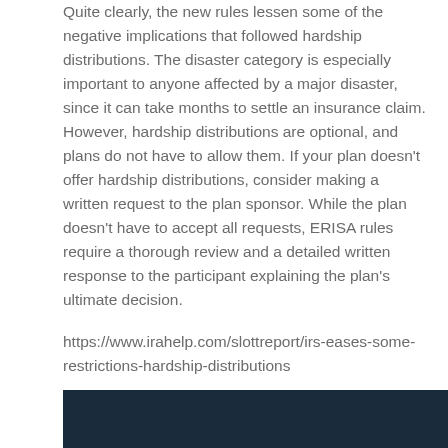Quite clearly, the new rules lessen some of the negative implications that followed hardship distributions. The disaster category is especially important to anyone affected by a major disaster, since it can take months to settle an insurance claim. However, hardship distributions are optional, and plans do not have to allow them. If your plan doesn't offer hardship distributions, consider making a written request to the plan sponsor. While the plan doesn't have to accept all requests, ERISA rules require a thorough review and a detailed written response to the participant explaining the plan's ultimate decision.
https://www.irahelp.com/slottreport/irs-eases-some-restrictions-hardship-distributions